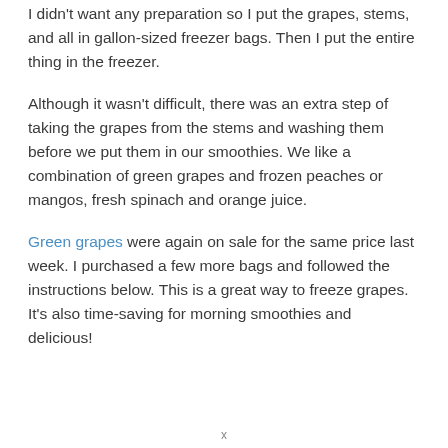I didn't want any preparation so I put the grapes, stems, and all in gallon-sized freezer bags. Then I put the entire thing in the freezer.
Although it wasn't difficult, there was an extra step of taking the grapes from the stems and washing them before we put them in our smoothies. We like a combination of green grapes and frozen peaches or mangos, fresh spinach and orange juice.
Green grapes were again on sale for the same price last week. I purchased a few more bags and followed the instructions below. This is a great way to freeze grapes. It's also time-saving for morning smoothies and delicious!
x